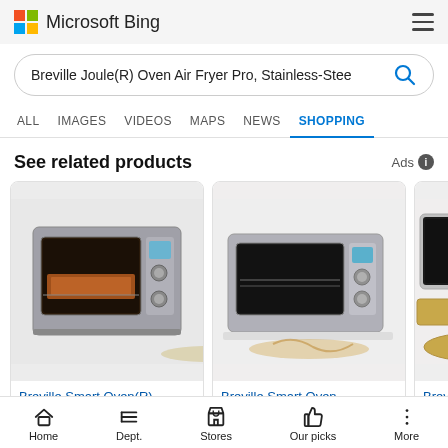Microsoft Bing
Breville Joule(R) Oven Air Fryer Pro, Stainless-Stee
ALL   IMAGES   VIDEOS   MAPS   NEWS   SHOPPING
See related products
Ads
[Figure (photo): Breville Smart Oven stainless steel toaster oven product photo]
Breville Smart Oven(R)
[Figure (photo): Breville Smart Oven stainless steel toaster oven product photo, second variant]
Breville Smart Oven
[Figure (photo): Breville Smart Oven with baking pans partially visible]
Breville Smart
Home   Dept.   Stores   Our picks   More